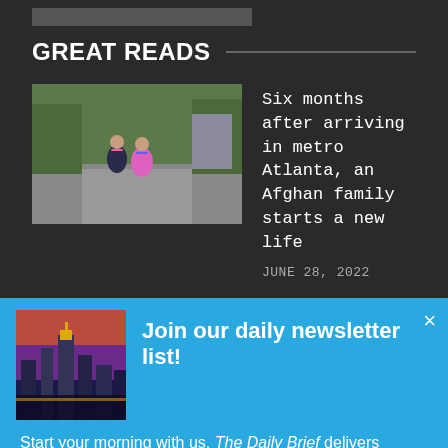GREAT READS
[Figure (photo): Two children with backpacks walking away on a road]
Six months after arriving in metro Atlanta, an Afghan family starts a new life
JUNE 28, 2022
[Figure (photo): City skyline at dusk with colorful sky]
Join our daily newsletter list!
Start your morning with us. The Daily Brief delivers
[Figure (screenshot): Wayfair advertisement showing furniture products]
Online Home Store for Furniture
Shop Wayfair for A Zillion Things Home across all styles
www.wayfair.com